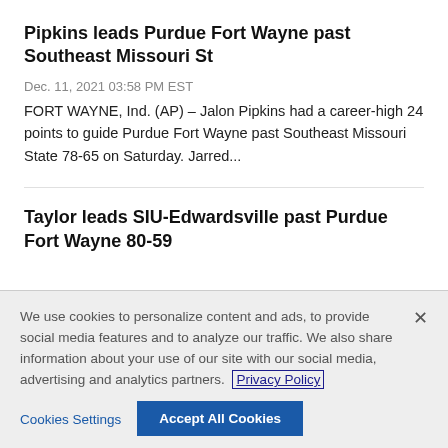Pipkins leads Purdue Fort Wayne past Southeast Missouri St
Dec. 11, 2021 03:58 PM EST
FORT WAYNE, Ind. (AP) – Jalon Pipkins had a career-high 24 points to guide Purdue Fort Wayne past Southeast Missouri State 78-65 on Saturday. Jarred...
Taylor leads SIU-Edwardsville past Purdue Fort Wayne 80-59
We use cookies to personalize content and ads, to provide social media features and to analyze our traffic. We also share information about your use of our site with our social media, advertising and analytics partners.  Privacy Policy
Cookies Settings
Accept All Cookies